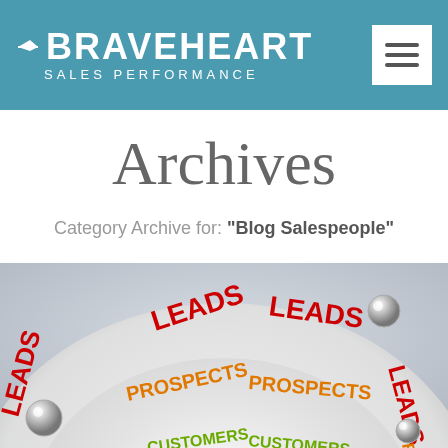BRAVEHEART SALES PERFORMANCE
Archives
Category Archive for: "Blog Salespeople"
[Figure (illustration): A 3D circular dial/gauge graphic showing nested rings labeled with LEADS (red), PROSPECTS (orange), and CUSTOMERS (green), with metallic ball bearings around the edges, on a gray gradient background.]